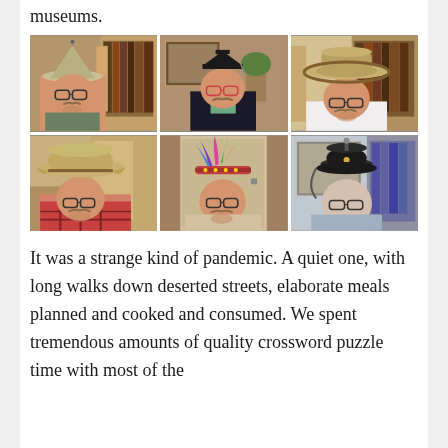museums.
[Figure (photo): A 2x3 grid of six photos showing the same man wearing different hats: a pointed safari-style helmet, a black academic mortarboard, a wide-brimmed straw hat with curved brim, a straw cowboy hat, a colorful feathered/jester hat, and a British police helmet (custodian helmet). The man has glasses, a mustache, and goatee in all photos.]
It was a strange kind of pandemic. A quiet one, with long walks down deserted streets, elaborate meals planned and cooked and consumed. We spent tremendous amounts of quality crossword puzzle time with most of the